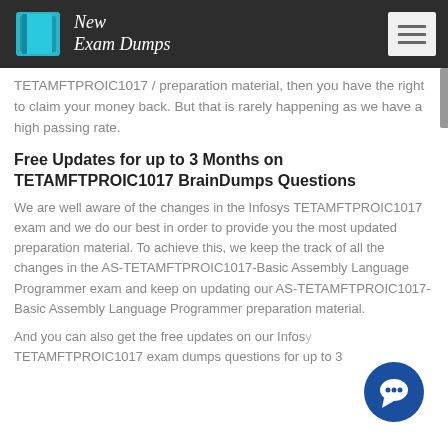New Exam Dumps
TETAMFTPROIC1017 / preparation material, then you have the right to claim your money back. But that is rarely happening as we have a high passing rate.
Free Updates for up to 3 Months on TETAMFTPROIC1017 BrainDumps Questions
We are well aware of the changes in the Infosys TETAMFTPROIC1017 exam and we do our best in order to provide you the most updated preparation material. To achieve this, we keep the track of all the changes in the AS-TETAMFTPROIC1017-Basic Assembly Language Programmer exam and keep on updating our AS-TETAMFTPROIC1017-Basic Assembly Language Programmer preparation material.
And you can also get the free updates on our Infosys TETAMFTPROIC1017 exam dumps questions for up to 3